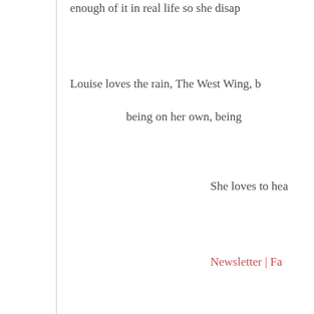enough of it in real life so she disap
Louise loves the rain, The West Wing, being on her own, being
She loves to hea
Newsletter | Fa